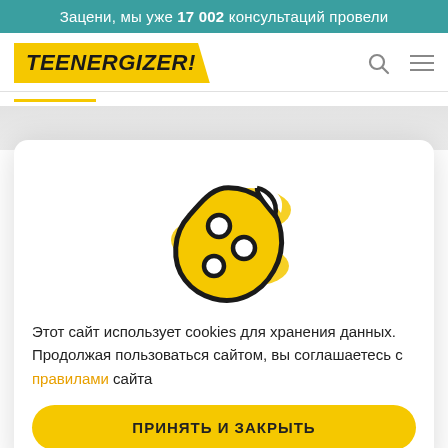Зацени, мы уже 17 002 консультаций провели
[Figure (logo): TEENERGIZER! logo on yellow background]
[Figure (illustration): Cookie illustration — bitten cookie with yellow decorative blobs]
Этот сайт использует cookies для хранения данных. Продолжая пользоваться сайтом, вы соглашаетесь с правилами сайта
ПРИНЯТЬ И ЗАКРЫТЬ
С сайта Teenergizer с 2019-2021г